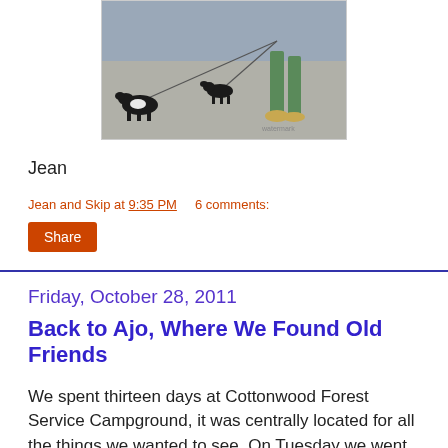[Figure (photo): Photo of two dogs on leashes being walked by a person, seen from above on pavement. One dog is black and white (bottom left), another smaller dog is in the middle, and the person's legs and feet are visible at the right.]
Jean
Jean and Skip at 9:35 PM    6 comments:
Share
Friday, October 28, 2011
Back to Ajo, Where We Found Old Friends
We spent thirteen days at Cottonwood Forest Service Campground, it was centrally located for all the things we wanted to see. On Tuesday we went to see the ruins at